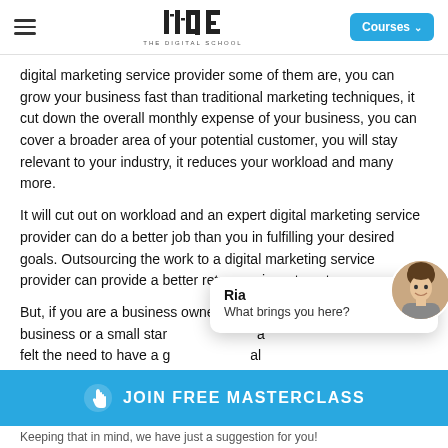IIDE – THE DIGITAL SCHOOL | Courses
digital marketing service provider some of them are, you can grow your business fast than traditional marketing techniques, it cut down the overall monthly expense of your business, you can cover a broader area of your potential customer, you will stay relevant to your industry, it reduces your workload and many more.
It will cut out on workload and an expert digital marketing service provider can do a better job than you in fulfilling your desired goals. Outsourcing the work to a digital marketing service provider can provide a better return on investment.
But, if you are a business owner of a hugely successful business or a small start... a felt the need to have a g... al
[Figure (screenshot): Chat popup overlay with avatar of a woman, name 'Ria', and message 'What brings you here?' with a close button]
[Figure (infographic): Blue CTA banner with hand/cursor icon and text JOIN FREE MASTERCLASS]
Keeping that in mind, we have just a suggestion for you!